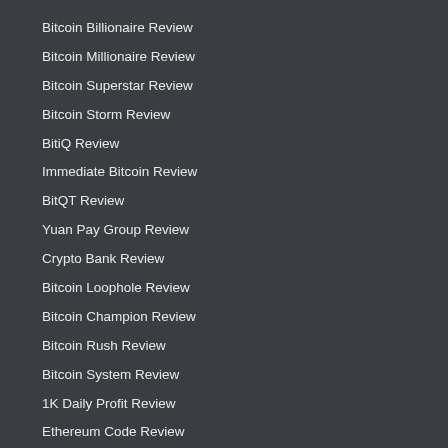Bitcoin Billionaire Review
Bitcoin Millionaire Review
Bitcoin Superstar Review
Bitcoin Storm Review
BitiQ Review
Immediate Bitcoin Review
BitQT Review
Yuan Pay Group Review
Crypto Bank Review
Bitcoin Loophole Review
Bitcoin Champion Review
Bitcoin Rush Review
Bitcoin System Review
1K Daily Profit Review
Ethereum Code Review